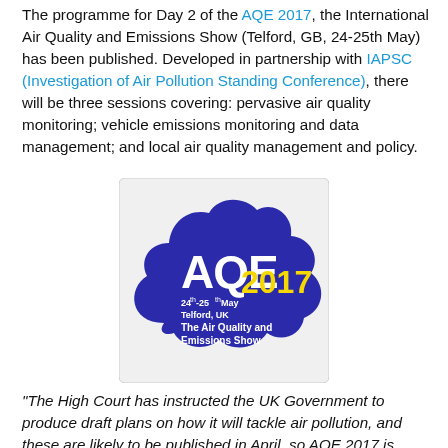The programme for Day 2 of the AQE 2017, the International Air Quality and Emissions Show (Telford, GB, 24-25th May) has been published. Developed in partnership with IAPSC (Investigation of Air Pollution Standing Conference), there will be three sessions covering: pervasive air quality monitoring; vehicle emissions monitoring and data management; and local air quality management and policy.
[Figure (logo): AQE 2017 logo - cloud-shaped dark blue badge with text: AQE, 24th-25th May, Telford UK, 2017, The Air Quality and Emissions Show]
"The High Court has instructed the UK Government to produce draft plans on how it will tackle air pollution, and these are likely to be published in April, so AQE 2017 is perfectly timed," comments AQE organiser Marcus Pattison.